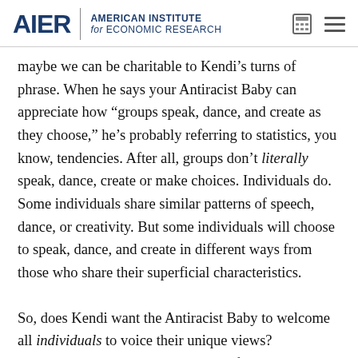AIER | AMERICAN INSTITUTE for ECONOMIC RESEARCH
maybe we can be charitable to Kendi’s turns of phrase. When he says your Antiracist Baby can appreciate how “groups speak, dance, and create as they choose,” he’s probably referring to statistics, you know, tendencies. After all, groups don’t literally speak, dance, create or make choices. Individuals do. Some individuals share similar patterns of speech, dance, or creativity. But some individuals will choose to speak, dance, and create in different ways from those who share their superficial characteristics.
So, does Kendi want the Antiracist Baby to welcome all individuals to voice their unique views? Admittedly, that’s a head-scratcher. If someone expresses a view about the